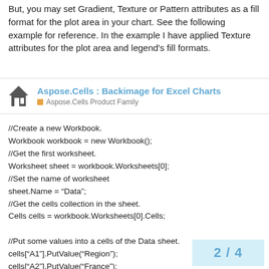But, you may set Gradient, Texture or Pattern attributes as a fill format for the plot area in your chart. See the following example for reference. In the example I have applied Texture attributes for the plot area and legend's fill formats.
[Figure (other): Forum post header with house icon, title 'Aspose.Cells : Backimage for Excel Charts', subtitle 'Aspose.Cells Product Family' with orange square indicator]
//Create a new Workbook.
Workbook workbook = new Workbook();
//Get the first worksheet.
Worksheet sheet = workbook.Worksheets[0];
//Set the name of worksheet
sheet.Name = “Data”;
//Get the cells collection in the sheet.
Cells cells = workbook.Worksheets[0].Cells;

//Put some values into a cells of the Data sheet.
cells[“A1”].PutValue(“Region”);
cells[“A2”].PutValue(“France”);
cells[“A3”].PutValue(“Germany”);
cells[“A4”].PutValue(“England”);
cells[“A5”].PutValue(“Sweden”);
cells[“A6”].PutValue(“Italy”);
2 / 4